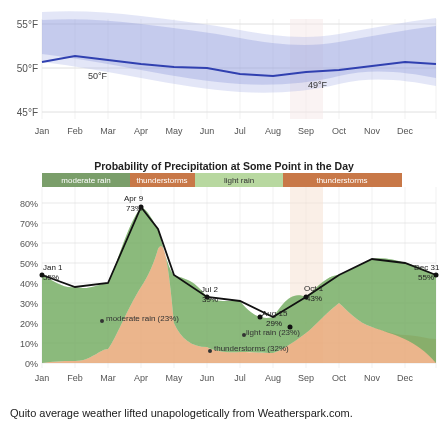[Figure (continuous-plot): Line chart showing average temperature in Fahrenheit across months Jan-Dec, with a blue line near 50°F and shaded blue confidence bands. Labels: 50°F at Feb, 49°F at Sep. Y-axis: 45°F to 55°F.]
Probability of Precipitation at Some Point in the Day
[Figure (area-chart): Probability of Precipitation at Some Point in the Day]
Quito average weather lifted unapologetically from Weatherspark.com.